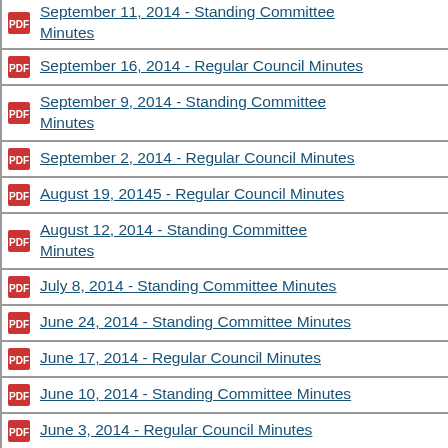September 11, 2014 - Standing Committee Minutes
September 16, 2014 - Regular Council Minutes
September 9, 2014 - Standing Committee Minutes
September 2, 2014 - Regular Council Minutes
August 19, 20145 - Regular Council Minutes
August 12, 2014 - Standing Committee Minutes
July 8, 2014 - Standing Committee Minutes
June 24, 2014 - Standing Committee Minutes
June 17, 2014 - Regular Council Minutes
June 10, 2014 - Standing Committee Minutes
June 3, 2014 - Regular Council Minutes